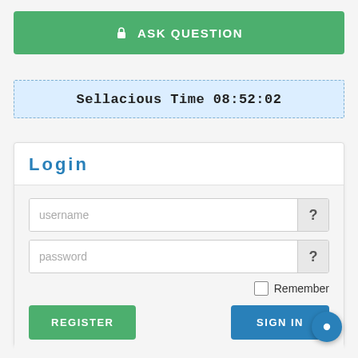[Figure (screenshot): Green button with lock icon and text ASK QUESTION]
Sellacious Time 08:52:02
Login
username
password
Remember
REGISTER
SIGN IN